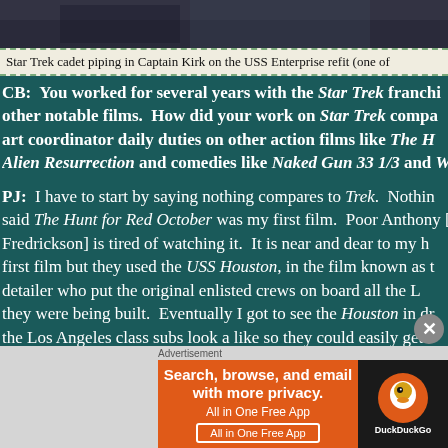[Figure (photo): Dark photo strip showing a person in Star Trek uniform on the USS Enterprise refit]
Star Trek cadet piping in Captain Kirk on the USS Enterprise refit (one of ...
CB:  You worked for several years with the Star Trek franchise and other notable films.  How did your work on Star Trek compare to stunt/art coordinator daily duties on other action films like The H... Alien Resurrection and comedies like Naked Gun 33 1/3 and Wa...
PJ:  I have to start by saying nothing compares to Trek.  Nothing. I said The Hunt for Red October was my first film.  Poor Anthony [... Fredrickson] is tired of watching it.  It is near and dear to my h... first film but they used the USS Houston, in the film known as t... detailer who put the original enlisted crews on board all the L... they were being built.  Eventually I got to see the Houston in dr... the Los Angeles class subs look a like so they could easily get b... other.  The first thing I saw walking on set was the mi...
[Figure (screenshot): DuckDuckGo advertisement banner: Search, browse, and email with more privacy. All in One Free App.]